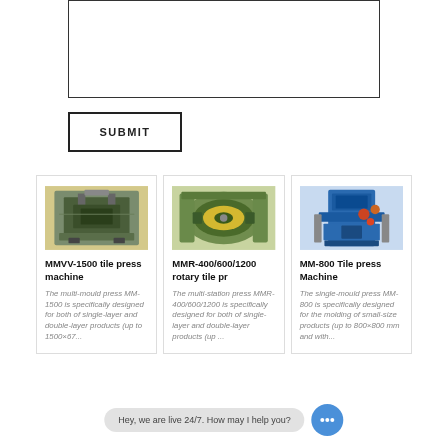[Figure (other): Empty textarea input box with black border]
SUBMIT
[Figure (photo): MMVV-1500 tile press machine - large green industrial press machine in factory setting]
MMVV-1500 tile press machine
The multi-mould press MM-1500 is specifically designed for both of single-layer and double-layer products (up to 1500×67...
[Figure (photo): MMR-400/600/1200 rotary tile press - green rotary press machine with yellow disc]
MMR-400/600/1200 rotary tile pr
The multi-station press MMR-400/600/1200 is specifically designed for both of single-layer and double-layer products (up ...
[Figure (photo): MM-800 Tile press Machine - blue and red hydraulic press machine]
MM-800 Tile press Machine
The single-mould press MM-800 is specifically designed for the molding of small-size products (up to 800×800 mm and with...
Hey, we are live 24/7. How may I help you?